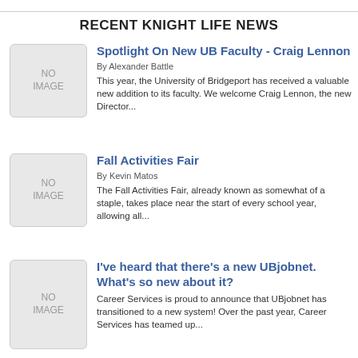RECENT KNIGHT LIFE NEWS
Spotlight On New UB Faculty - Craig Lennon
By Alexander Battle
This year, the University of Bridgeport has received a valuable new addition to its faculty. We welcome Craig Lennon, the new Director...
Fall Activities Fair
By Kevin Matos
The Fall Activities Fair, already known as somewhat of a staple, takes place near the start of every school year, allowing all...
I've heard that there's a new UBjobnet. What's so new about it?
Career Services is proud to announce that UBjobnet has transitioned to a new system! Over the past year, Career Services has teamed up...